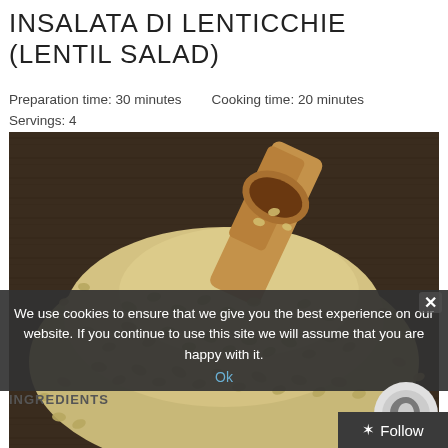INSALATA DI LENTICCHIE (LENTIL SALAD)
Preparation time: 30 minutes    Cooking time: 20 minutes    Servings: 4
[Figure (photo): A pile of green/brown lentils on a dark wooden surface with a wooden scoop]
We use cookies to ensure that we give you the best experience on our website. If you continue to use this site we will assume that you are happy with it.
Ok
INGREDIENTS